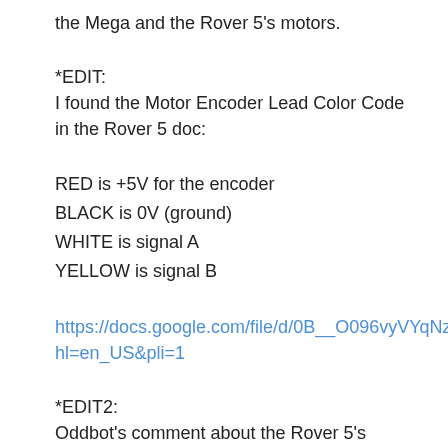the Mega and the Rover 5's motors.
*EDIT:
I found the Motor Encoder Lead Color Code in the Rover 5 doc:
RED is +5V for the encoder
BLACK is 0V (ground)
WHITE is signal A
YELLOW is signal B
https://docs.google.com/file/d/0B__O096vyVYqNzE3OWYyMTctZmFkMC00YjY1LTg0Y2ItNWUwMjQwZWZmMGI1/edit?hl=en_US&pli=1
*EDIT2:
Oddbot's comment about the Rover 5's Motor Power Leads being opposite what's silkscreened on the Dagu 4-Motor Controller board is here:
> It seems that the connectors on the rover are not wired to be consistent...